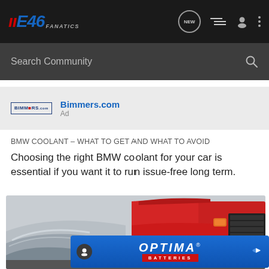E46 FANATICS
Search Community
[Figure (screenshot): Bimmers.com advertisement logo]
Bimmers.com
Ad
BMW COOLANT – WHAT TO GET AND WHAT TO AVOID
Choosing the right BMW coolant for your car is essential if you want it to run issue-free long term.
[Figure (photo): Close-up photo of BMW cars, showing a silver/white BMW hood in foreground and a red BMW in background with visible grille and headlights]
[Figure (screenshot): Optima Batteries advertisement banner in blue with red accent showing OPTIMA BATTERIES logo]